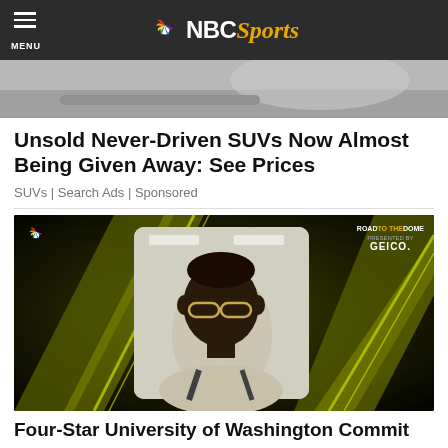MENU | NBC Sports
[Figure (photo): Partial view of a car on snowy/icy surface — advertisement image]
Unsold Never-Driven SUVs Now Almost Being Given Away: See Prices
SUVs | Search Ads | Sponsored
[Figure (photo): NBC Sports Road to the Dome presented by GEICO — young man with glasses wearing a hoodie, headshot on dark olive/gold graphic background]
Four-Star University of Washington Commit